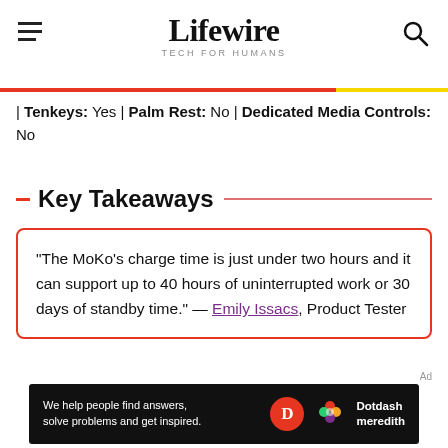Lifewire TECH FOR HUMANS
| Tenkeys: Yes | Palm Rest: No | Dedicated Media Controls: No
Key Takeaways
"The MoKo’s charge time is just under two hours and it can support up to 40 hours of uninterrupted work or 30 days of standby time.” — Emily Issacs, Product Tester
Ad
[Figure (other): Dotdash Meredith advertisement banner: 'We help people find answers, solve problems and get inspired.' with Dotdash Meredith logo]